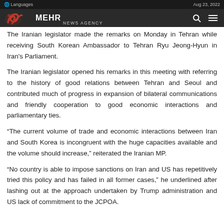Languages | Aug 23, 2022 | MEHR NEWS AGENCY
The Iranian legislator made the remarks on Monday in Tehran while receiving South Korean Ambassador to Tehran Ryu Jeong-Hyun in Iran's Parliament.
The Iranian legislator opened his remarks in this meeting with referring to the history of good relations between Tehran and Seoul and contributed much of progress in expansion of bilateral communications and friendly cooperation to good economic interactions and parliamentary ties.
“The current volume of trade and economic interactions between Iran and South Korea is incongruent with the huge capacities available and the volume should increase,” reiterated the Iranian MP.
“No country is able to impose sanctions on Iran and US has repetitively tried this policy and has failed in all former cases,” he underlined after lashing out at the approach undertaken by Trump administration and US lack of commitment to the JCPOA.